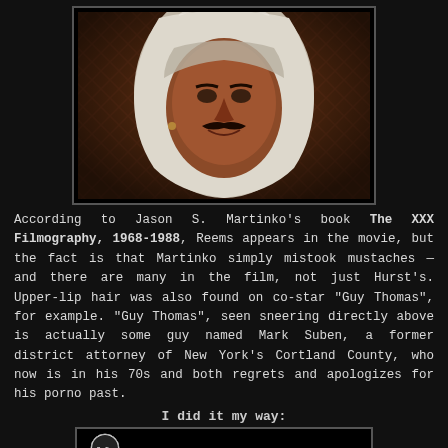[Figure (photo): A man wearing a white hood/headscarf, with a mustache, sneering at the camera. Background shows a patterned fabric. Dark vignette border around the photo.]
According to Jason S. Martinko's book The XXX Filmography, 1968-1988, Reems appears in the movie, but the fact is that Martinko simply mistook mustaches — and there are many in the film, not just Hurst's. Upper-lip hair was also found on co-star "Guy Thomas", for example. "Guy Thomas", seen sneering directly above is actually some guy named Mark Suben, a former district attorney of New York's Cortland County, who now is in his 70s and both regrets and apologizes for his porno past.
I did it my way:
[Figure (screenshot): Bottom portion of a video thumbnail showing a circular logo with '3n5n' text on a black background.]